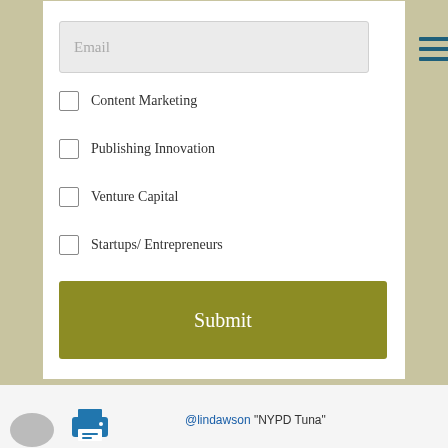Email
Content Marketing
Publishing Innovation
Venture Capital
Startups/ Entrepreneurs
Submit
FOLLOW ME @BRIANOLEARY
@lindawson "NYPD Tuna"